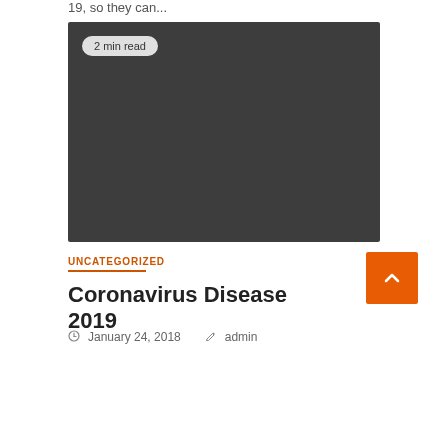19, so they can...
[Figure (photo): Dark gray placeholder image for a blog post with a '2 min read' badge in the upper left corner]
UNCATEGORIZED
Coronavirus Disease 2019
January 24, 2018   admin